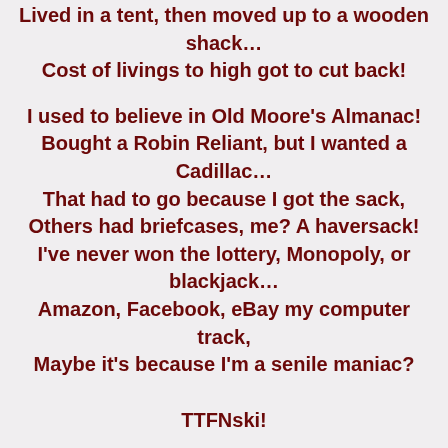Lived in a tent, then moved up to a wooden shack… Cost of livings to high got to cut back! I used to believe in Old Moore's Almanac! Bought a Robin Reliant, but I wanted a Cadillac… That had to go because I got the sack, Others had briefcases, me? A haversack! I've never won the lottery, Monopoly, or blackjack… Amazon, Facebook, eBay my computer track, Maybe it's because I'm a senile maniac?
TTFNski!